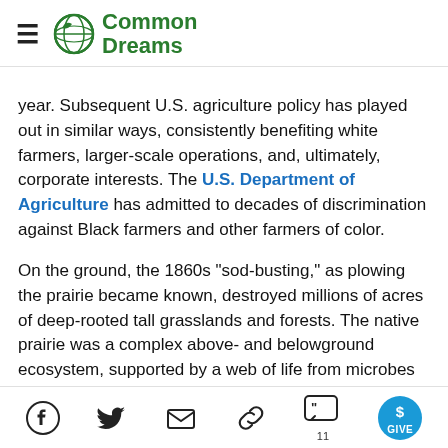Common Dreams
year. Subsequent U.S. agriculture policy has played out in similar ways, consistently benefiting white farmers, larger-scale operations, and, ultimately, corporate interests. The U.S. Department of Agriculture has admitted to decades of discrimination against Black farmers and other farmers of color.
On the ground, the 1860s "sod-busting," as plowing the prairie became known, destroyed millions of acres of deep-rooted tall grasslands and forests. The native prairie was a complex above- and belowground ecosystem, supported by a web of life from microbes to bison and stewarded for millennia by Indigenous communities. As annual grain crops replaced perennial
Social share bar with Facebook, Twitter, Email, Link, Comments (11), Give